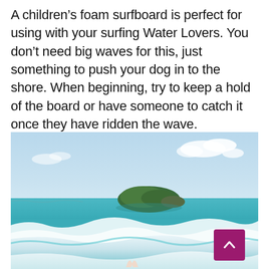A children's foam surfboard is perfect for using with your surfing Water Lovers. You don't need big waves for this, just something to push your dog in to the shore. When beginning, try to keep a hold of the board or have someone to catch it once they have ridden the wave.
[Figure (photo): A photo of ocean waves with white surf in the foreground, a green rocky island in the middle distance, a light blue sky with clouds, and what appears to be a dog's ears visible at the bottom center of the image. A magenta/pink back-to-top button with an upward arrow is overlaid in the lower right corner.]